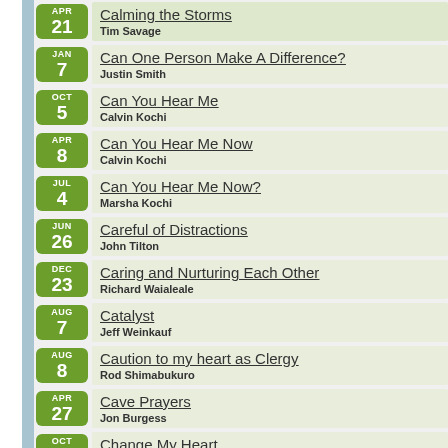APR 21 - Calming the Storms - Tim Savage
JAN 7 - Can One Person Make A Difference? - Justin Smith
OCT 5 - Can You Hear Me - Calvin Kochi
APR 8 - Can You Hear Me Now - Calvin Kochi
JUL 4 - Can You Hear Me Now? - Marsha Kochi
JUN 26 - Careful of Distractions - John Tilton
DEC 23 - Caring and Nurturing Each Other - Richard Waialeale
AUG 7 - Catalyst - Jeff Weinkauf
AUG 8 - Caution to my heart as Clergy - Rod Shimabukuro
APR 27 - Cave Prayers - Jon Burgess
OCT 6 - Change My Heart - John Tilton